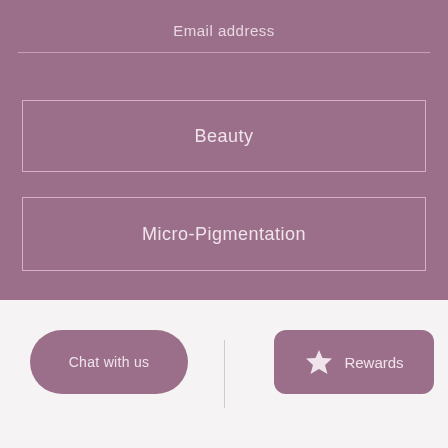Email address
Beauty
Micro-Pigmentation
Chat with us
Rewards